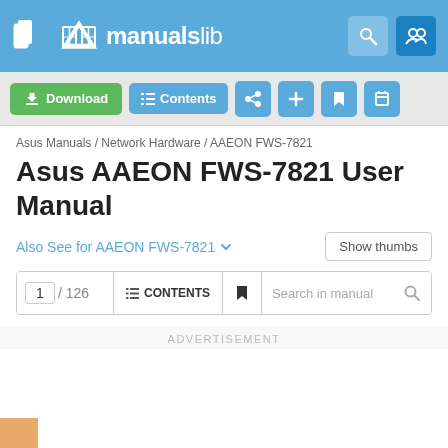manualslib
Download | Contents | Share | Add | Bookmark | Print
Asus Manuals / Network Hardware / AAEON FWS-7821
Asus AAEON FWS-7821 User Manual
Also See for AAEON FWS-7821
Show thumbs
1 / 126  CONTENTS  Search in manual
ADVERTISEMENT
Download this manual